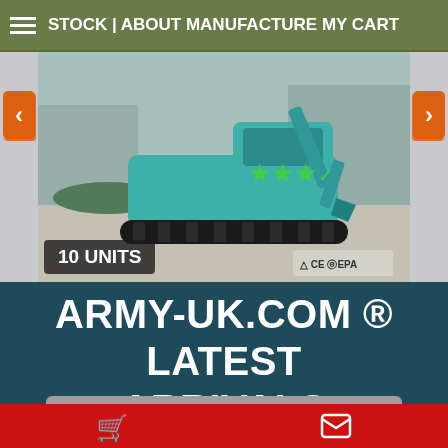STOCK | ABOUT MANUFACTURE MY CART
[Figure (photo): Mini excavator (teal/turquoise color) on a concrete surface outdoors. Shows 3 green star rating icons and certifications (CE, EPA) at bottom right. Badge overlay reads 10 UNITS.]
10 UNITS
ID:1581
Manufactured by: Shandong Hengwang Group MORE INFO
ARMY-UK.COM ® LATEST ARRIVALS
GARBAGE COLLECTION SANITATION TRUCK 8X4 16M3